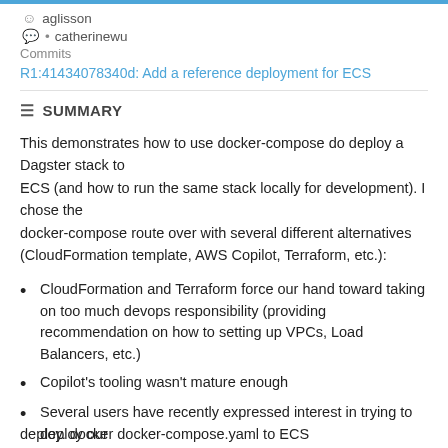aglisson
• catherinewu
Commits
R1:41434078340d: Add a reference deployment for ECS
SUMMARY
This demonstrates how to use docker-compose do deploy a Dagster stack to ECS (and how to run the same stack locally for development). I chose the docker-compose route over with several different alternatives (CloudFormation template, AWS Copilot, Terraform, etc.):
CloudFormation and Terraform force our hand toward taking on too much devops responsibility (providing recommendation on how to setting up VPCs, Load Balancers, etc.)
Copilot's tooling wasn't mature enough
Several users have recently expressed interest in trying to deploy our
deploy. docker docker-compose.yaml to ECS